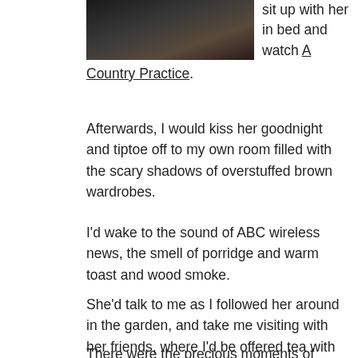[Figure (photo): Dark photograph of a person, partially visible, dark tones]
sit up with her in bed and watch A Country Practice.
Afterwards, I would kiss her goodnight and tiptoe off to my own room filled with the scary shadows of overstuffed brown wardrobes.
I'd wake to the sound of ABC wireless news, the smell of porridge and warm toast and wood smoke.
She'd talk to me as I followed her around in the garden, and take me visiting with her friends, where I'd be offered tea with Iced Vovo.
There were the precious moments of laughter and